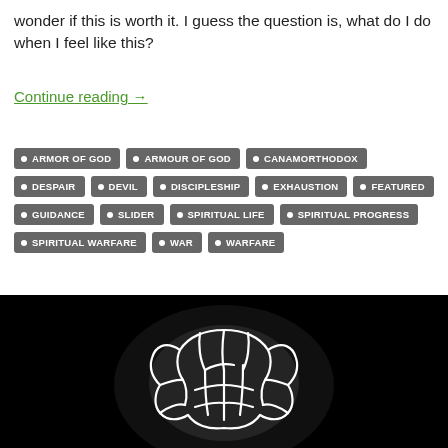wonder if this is worth it. I guess the question is, what do I do when I feel like this?
Continue reading →
ARMOR OF GOD
ARMOUR OF GOD
CANAMORTHODOX
DESPAIR
DEVIL
DISCIPLESHIP
EXHAUSTION
FEATURED
GUIDANCE
SLIDER
SPIRITUAL LIFE
SPIRITUAL PROGRESS
SPIRITUAL WARFARE
WAR
WARFARE
[Figure (illustration): White line drawing of a brain on a black background with a glowing halo effect]